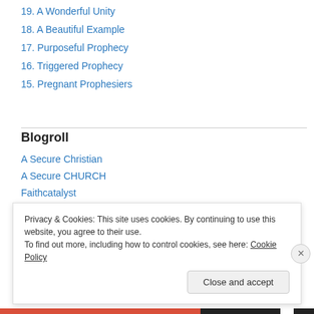19. A Wonderful Unity
18. A Beautiful Example
17. Purposeful Prophecy
16. Triggered Prophecy
15. Pregnant Prophesiers
Blogroll
A Secure Christian
A Secure CHURCH
Faithcatalyst
So what God?
Privacy & Cookies: This site uses cookies. By continuing to use this website, you agree to their use.
To find out more, including how to control cookies, see here: Cookie Policy
Close and accept